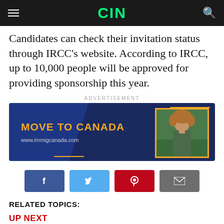CIN
Candidates can check their invitation status through IRCC's website. According to IRCC, up to 10,000 people will be approved for providing sponsorship this year.
ADVERTISEMENT
[Figure (illustration): Advertisement banner for immigcanada.com showing 'MOVE TO CANADA' text in yellow on a dark blue background with a photo of a young woman on the right side.]
[Figure (infographic): Social share buttons: Facebook (blue), Twitter (light blue), Pinterest (red), Email (grey)]
RELATED TOPICS:
UP NEXT